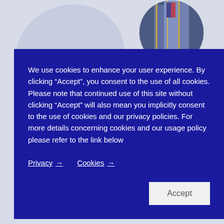[Figure (photo): Circular cropped photo showing military or formal uniforms/jackets in blue and gold tones, positioned in top right]
We use cookies to enhance your user experience. By clicking “Accept”, you consent to the use of all cookies. Please note that continued use of this site without clicking “Accept” will also mean you implicitly consent to the use of cookies and our privacy policies. For more details concerning cookies and our usage policy please refer to the link below
Privacy →
Cookies →
Accept